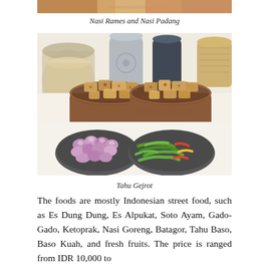[Figure (photo): Top strip of a food photo showing Nasi Rames and Nasi Padang]
Nasi Rames and Nasi Padang
[Figure (photo): Photo of Tahu Gejrot — two clay bowls filled with fried tofu cubes, a stone plate with shallots, and a stone plate with green chilies and peppers]
Tahu Gejrot
The foods are mostly Indonesian street food, such as Es Dung Dung, Es Alpukat, Soto Ayam, Gado-Gado, Ketoprak, Nasi Goreng, Batagor, Tahu Baso, Baso Kuah, and fresh fruits. The price is ranged from IDR 10,000 to